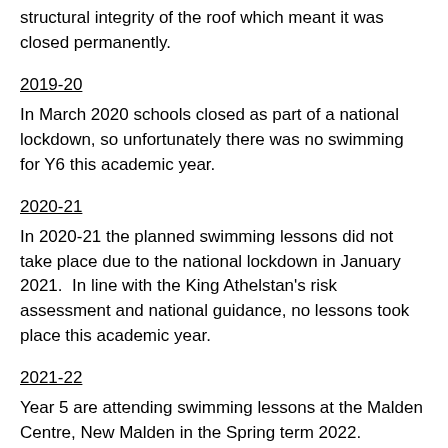structural integrity of the roof which meant it was closed permanently.
2019-20
In March 2020 schools closed as part of a national lockdown, so unfortunately there was no swimming for Y6 this academic year.
2020-21
In 2020-21 the planned swimming lessons did not take place due to the national lockdown in January 2021.  In line with the King Athelstan's risk assessment and national guidance, no lessons took place this academic year.
2021-22
Year 5 are attending swimming lessons at the Malden Centre, New Malden in the Spring term 2022.